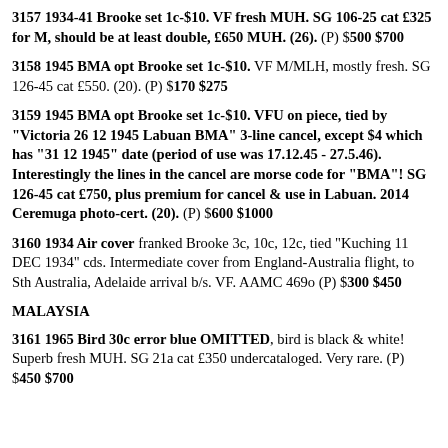3157 1934-41 Brooke set 1c-$10. VF fresh MUH. SG 106-25 cat £325 for M, should be at least double, £650 MUH. (26). (P) $500 $700
3158 1945 BMA opt Brooke set 1c-$10. VF M/MLH, mostly fresh. SG 126-45 cat £550. (20). (P) $170 $275
3159 1945 BMA opt Brooke set 1c-$10. VFU on piece, tied by "Victoria 26 12 1945 Labuan BMA" 3-line cancel, except $4 which has "31 12 1945" date (period of use was 17.12.45 - 27.5.46). Interestingly the lines in the cancel are morse code for "BMA"! SG 126-45 cat £750, plus premium for cancel & use in Labuan. 2014 Ceremuga photo-cert. (20). (P) $600 $1000
3160 1934 Air cover franked Brooke 3c, 10c, 12c, tied "Kuching 11 DEC 1934" cds. Intermediate cover from England-Australia flight, to Sth Australia, Adelaide arrival b/s. VF. AAMC 469o (P) $300 $450
MALAYSIA
3161 1965 Bird 30c error blue OMITTED, bird is black & white! Superb fresh MUH. SG 21a cat £350 undercataloged. Very rare. (P) $450 $700